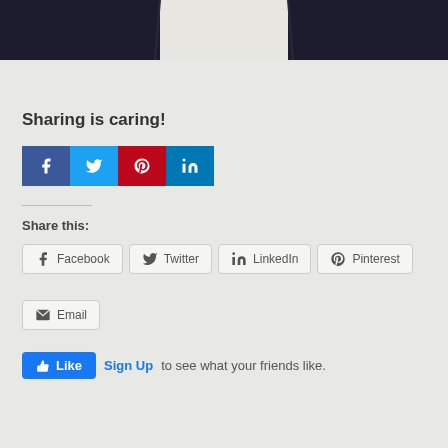[Figure (photo): Partial product photo showing dark navy jacket with zipper and white collar/shirt underneath]
Sharing is caring!
[Figure (infographic): Colored social share buttons: Facebook (dark blue), Twitter (light blue), Pinterest (red), LinkedIn (teal)]
Share this:
Facebook  Twitter  LinkedIn  Pinterest  Email
Like  Sign Up to see what your friends like.